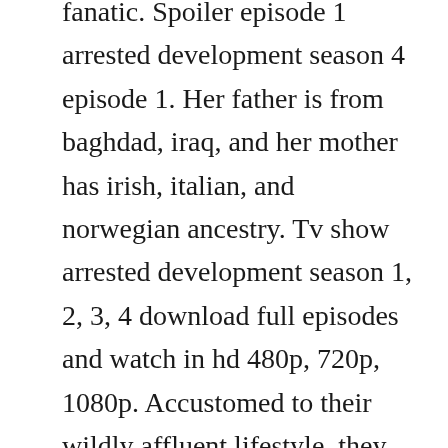fanatic. Spoiler episode 1 arrested development season 4 episode 1. Her father is from baghdad, iraq, and her mother has irish, italian, and norwegian ancestry. Tv show arrested development season 1, 2, 3, 4 download full episodes and watch in hd 480p, 720p, 1080p. Accustomed to their wildly affluent lifestyle, they cant seem to grasp the fact that the head of the family jeffrey tambor is now in the slammer for shifty accounting practicesand hes loving every minute of it. Her maternal grandfather, paul burke, was